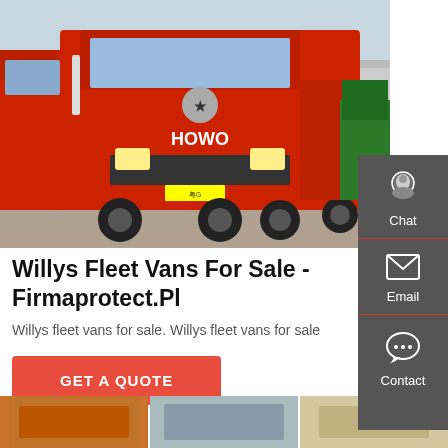[Figure (photo): Photograph of red HOWO heavy trucks (tractor units) parked in a lot, with a green dump truck visible on the right side. Industrial facility in background.]
Willys Fleet Vans For Sale - Firmaprotect.Pl
Willys fleet vans for sale. Willys fleet vans for sale
[Figure (other): GET A QUOTE button]
[Figure (photo): Bottom thumbnail strip showing partial vehicle images]